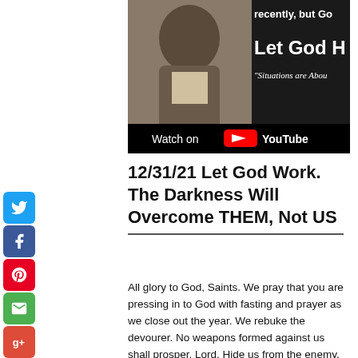[Figure (screenshot): YouTube video thumbnail showing a man in a suit jacket with text 'recently, but Go' and 'Let God H' and '"Situations are Abou' and 'Watch on YouTube' overlay at bottom]
12/31/21 Let God Work. The Darkness Will Overcome THEM, Not US
All glory to God, Saints. We pray that you are pressing in to God with fasting and prayer as we close out the year. We rebuke the devourer. No weapons formed against us shall prosper. Lord, Hide us from the enemy. We are covered in your blood. Thank you for loving us, covering us and guiding us. Great is Thy faithfulness. We're coming into a new year. We need to be more mindful and focused and listen to that still, small voice. Our steps are ordered. Our Father God